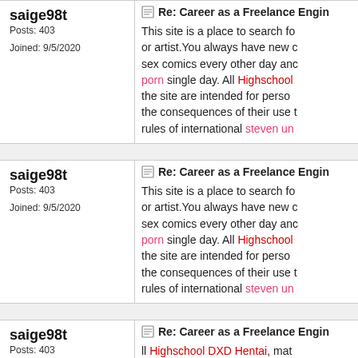| User | Post |
| --- | --- |
| saige98t
Posts: 403
Joined: 9/5/2020 | Re: Career as a Freelance Engin...
This site is a place to search fo... or artist.You always have new c... sex comics every other day anc... porn single day. All Highschool... the site are intended for perso... the consequences of their use t... rules of international steven un... |
| saige98t
Posts: 403
Joined: 9/5/2020 | Re: Career as a Freelance Engin...
This site is a place to search fo... or artist.You always have new c... sex comics every other day anc... porn single day. All Highschool... the site are intended for perso... the consequences of their use t... rules of international steven un... |
| saige98t
Posts: 403
Joined: 9/5/2020 | Re: Career as a Freelance Engin...
ll Highschool DXD Hentai, mat... |